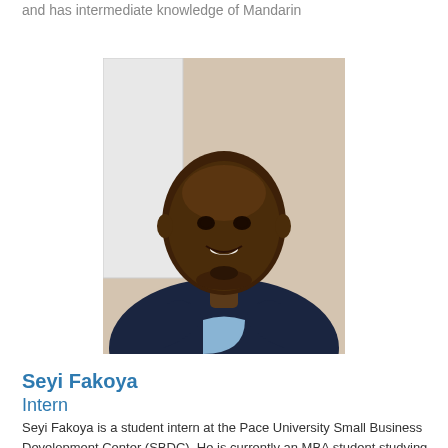and has intermediate knowledge of Mandarin
[Figure (photo): Headshot photo of Seyi Fakoya, a young man wearing a dark blazer over a light blue collared shirt, smiling, against a beige indoor background]
Seyi Fakoya
Intern
Seyi Fakoya is a student intern at the Pace University Small Business Development Center (SBDC). He is currently an MBA student studying Business Analytics at the Lubin School of Business. Seyi has experience with technology and business